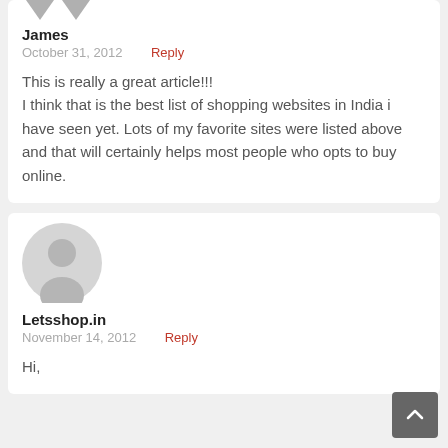[Figure (illustration): Two downward-pointing arrow shapes forming a partial avatar/icon at the top of the first comment card]
James
October 31, 2012   Reply
This is really a great article!!!
I think that is the best list of shopping websites in India i have seen yet. Lots of my favorite sites were listed above and that will certainly helps most people who opts to buy online.
[Figure (illustration): Generic user avatar circle icon for Letsshop.in comment]
Letsshop.in
November 14, 2012   Reply
Hi,